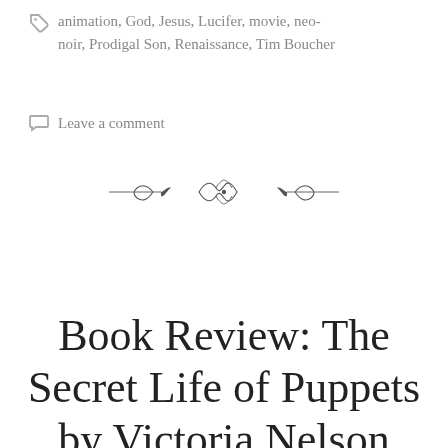animation, God, Jesus, Lucifer, movie, neo-noir, Prodigal Son, Renaissance, Tim Boucher
Leave a comment
[Figure (illustration): Decorative ornamental divider with scrollwork and bow-tie flourish]
Book Review: The Secret Life of Puppets by Victoria Nelson